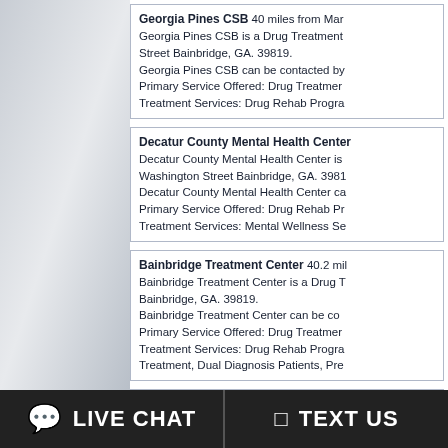Georgia Pines CSB 40 miles from Marianna. Georgia Pines CSB is a Drug Treatment... Street Bainbridge, GA. 39819. Georgia Pines CSB can be contacted by... Primary Service Offered: Drug Treatment... Treatment Services: Drug Rehab Programs...
Decatur County Mental Health Center... Decatur County Mental Health Center is... Washington Street Bainbridge, GA. 3981... Decatur County Mental Health Center ca... Primary Service Offered: Drug Rehab Pr... Treatment Services: Mental Wellness Se...
Bainbridge Treatment Center 40.2 miles... Bainbridge Treatment Center is a Drug T... Bainbridge, GA. 39819. Bainbridge Treatment Center can be co... Primary Service Offered: Drug Treatment... Treatment Services: Drug Rehab Programs..., Treatment, Dual Diagnosis Patients, Pre...
DISC Village Inc 40.5 miles from Mariana... DISC Village Inc is a Drug Treatment Ce... Quincy, FL. 32351. DISC Village Inc can be contacted by ca... Primary Service Offered: Drug Treatment...
LIVE CHAT   TEXT US